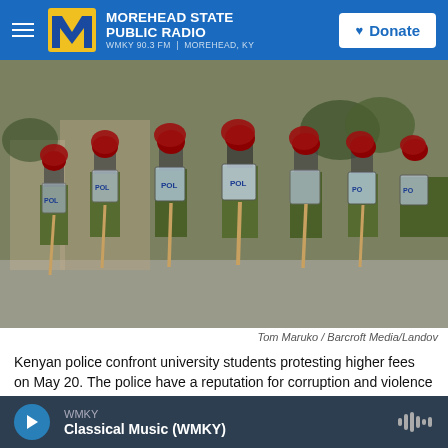MOREHEAD STATE PUBLIC RADIO — WMKY 90.3 FM | MOREHEAD, KY — Donate
[Figure (photo): Row of Kenyan riot police in olive-green uniforms and red helmets holding transparent shields marked 'POL' and wooden batons, marching in formation on a street.]
Tom Maruko / Barcroft Media/Landov
Kenyan police confront university students protesting higher fees on May 20. The police have a reputation for corruption and violence and are not well-liked. But when a popular officer was arrested and charged with a vigilante-style killing, residents took to the streets to support him.
WMKY — Classical Music (WMKY)